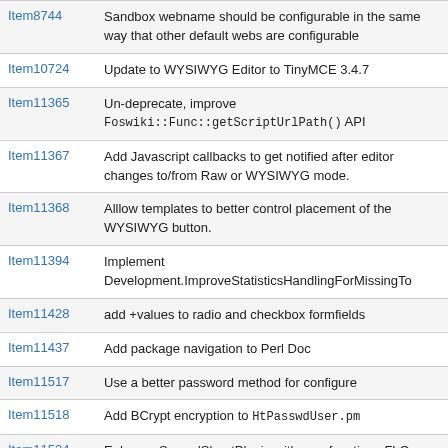| Item | Description |
| --- | --- |
| Item8744 | Sandbox webname should be configurable in the same way that other default webs are configurable |
| Item10724 | Update to WYSIWYG Editor to TinyMCE 3.4.7 |
| Item11365 | Un-deprecate, improve Foswiki::Func::getScriptUrlPath() API |
| Item11367 | Add Javascript callbacks to get notified after editor changes to/from Raw or WYSIWYG mode. |
| Item11368 | Alllow templates to better control placement of the WYSIWYG button. |
| Item11394 | Implement Development.ImproveStatisticsHandlingForMissingTo |
| Item11428 | add +values to radio and checkbox formfields |
| Item11437 | Add package navigation to Perl Doc |
| Item11517 | Use a better password method for configure |
| Item11518 | Add BCrypt encryption to HtPasswdUser.pm |
| Item11524 | Enhance SpreadSheetPlugin with new functions FLO |